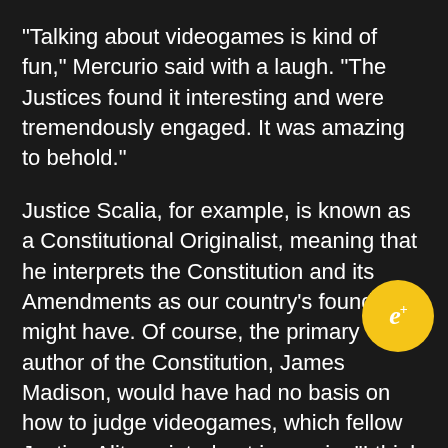“Talking about videogames is kind of fun,” Mercurio said with a laugh. “The Justices found it interesting and were tremendously engaged. It was amazing to behold.”
Justice Scalia, for example, is known as a Constitutional Originalist, meaning that he interprets the Constitution and its Amendments as our country’s founders might have. Of course, the primary author of the Constitution, James Madison, would have had no basis on how to judge videogames, which fellow Justice Alito pointed out in a quip: “I think what Justice Scalia wants to know is what James Ma… thought about videogames. Did he enjoy them…”
The other Justices and the audience laughed in astonishment. This kind of ribbing, Alito basically teasing Scalia for his strict interpretation of the
[Figure (logo): Gold circular badge with italic cursive 'e+' text in white]